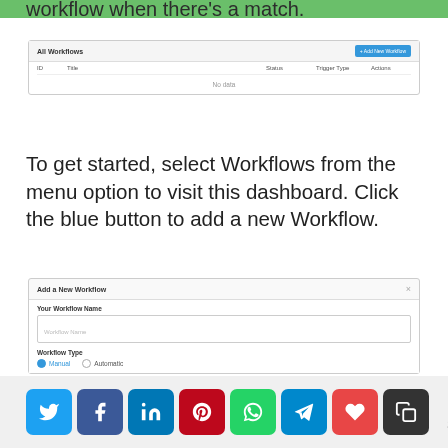workflow when there's a match.
[Figure (screenshot): All Workflows dashboard screenshot showing an empty table with columns ID, Title, Status, Trigger Type, Actions, and a blue '+ Add New Workflow' button in the top right.]
To get started, select Workflows from the menu option to visit this dashboard. Click the blue button to add a new Workflow.
[Figure (screenshot): Add a New Workflow modal dialog with fields: Your Workflow Name (text input with placeholder 'Workflow Name'), Workflow Type with radio buttons for Manual (selected, blue) and Automatic.]
0 Shares (social share buttons: Twitter, Facebook, LinkedIn, Pinterest, WhatsApp, Telegram, Like, Copy)